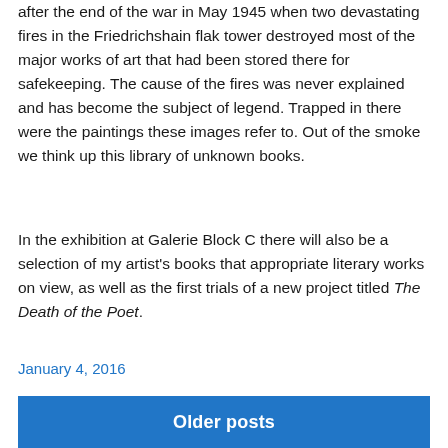after the end of the war in May 1945 when two devastating fires in the Friedrichshain flak tower destroyed most of the major works of art that had been stored there for safekeeping. The cause of the fires was never explained and has become the subject of legend. Trapped in there were the paintings these images refer to. Out of the smoke we think up this library of unknown books.
In the exhibition at Galerie Block C there will also be a selection of my artist's books that appropriate literary works on view, as well as the first trials of a new project titled The Death of the Poet.
January 4, 2016
Older posts